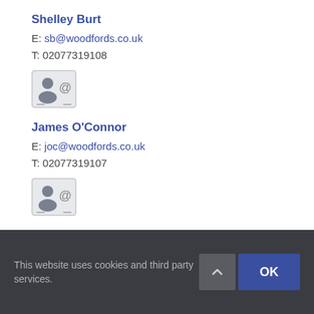Shelley Burt
E: sb@woodfords.co.uk
T: 02077319108
[Figure (other): Contact card icon with person silhouette and @ symbol]
James O'Connor
E: joc@woodfords.co.uk
T: 02077319107
[Figure (other): Contact card icon with person silhouette and @ symbol]
Roger Wilkinson
E: rw@woodfords.co.uk
T: 02077310750
This website uses cookies and third party services.